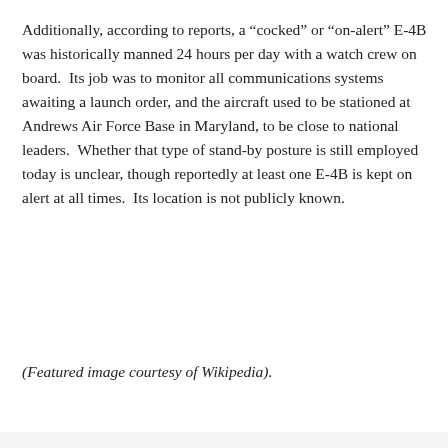Additionally, according to reports, a “cocked” or “on-alert” E-4B was historically manned 24 hours per day with a watch crew on board.  Its job was to monitor all communications systems awaiting a launch order, and the aircraft used to be stationed at Andrews Air Force Base in Maryland, to be close to national leaders.  Whether that type of stand-by posture is still employed today is unclear, though reportedly at least one E-4B is kept on alert at all times.  Its location is not publicly known.
(Featured image courtesy of Wikipedia).
SHARE THIS:
[Figure (other): Advertisement banner for Wayfair.com - Online Home Store Sale! with blue title text, description 'Shop for A Zillion Things Home across all styles at Wayfair!', URL www.wayfair.com, a close button (gray circle with X), a blue circular arrow button on the right, and a blue external link arrow.]